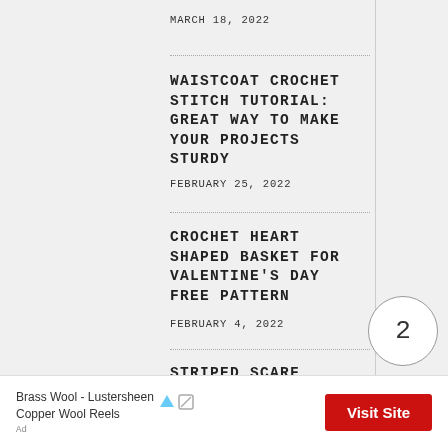MARCH 18, 2022
WAISTCOAT CROCHET STITCH TUTORIAL: GREAT WAY TO MAKE YOUR PROJECTS STURDY
FEBRUARY 25, 2022
CROCHET HEART SHAPED BASKET FOR VALENTINE'S DAY FREE PATTERN
FEBRUARY 4, 2022
STRIPED SCARF CROCHET PATTERN
JANUARY 2, 2022
[Figure (other): Circular badge with number 2]
Brass Wool - Lustersheen Copper Wool Reels
Visit Site
Ad